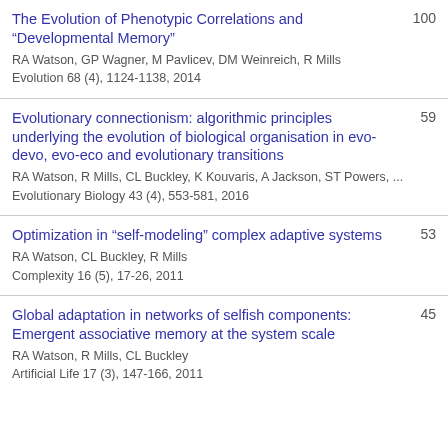The Evolution of Phenotypic Correlations and "Developmental Memory"
RA Watson, GP Wagner, M Pavlicev, DM Weinreich, R Mills
Evolution 68 (4), 1124-1138, 2014
100
Evolutionary connectionism: algorithmic principles underlying the evolution of biological organisation in evo-devo, evo-eco and evolutionary transitions
RA Watson, R Mills, CL Buckley, K Kouvaris, A Jackson, ST Powers, ...
Evolutionary Biology 43 (4), 553-581, 2016
59
Optimization in “self-modeling” complex adaptive systems
RA Watson, CL Buckley, R Mills
Complexity 16 (5), 17-26, 2011
53
Global adaptation in networks of selfish components: Emergent associative memory at the system scale
RA Watson, R Mills, CL Buckley
Artificial Life 17 (3), 147-166, 2011
45